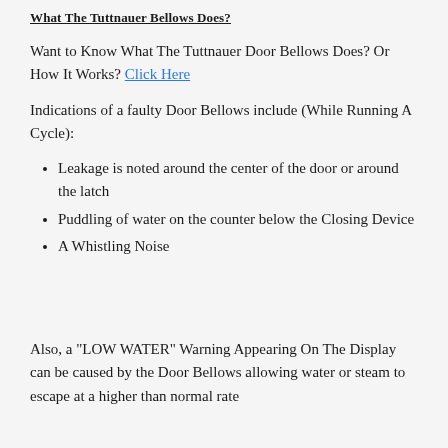What The Tuttnauer Bellows Does?
Want to Know What The Tuttnauer Door Bellows Does? Or How It Works? Click Here
Indications of a faulty Door Bellows include (While Running A Cycle):
Leakage is noted around the center of the door or around the latch
Puddling of water on the counter below the Closing Device
A Whistling Noise
Also, a "LOW WATER" Warning Appearing On The Display can be caused by the Door Bellows allowing water or steam to escape at a higher than normal rate